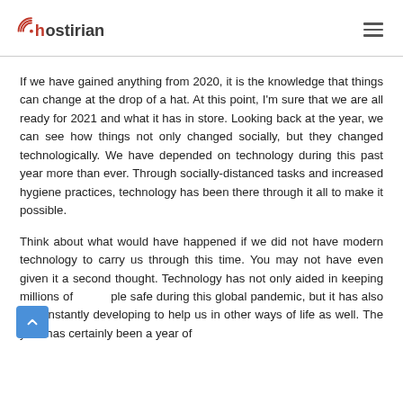hostirian [logo] [hamburger menu]
If we have gained anything from 2020, it is the knowledge that things can change at the drop of a hat. At this point, I'm sure that we are all ready for 2021 and what it has in store. Looking back at the year, we can see how things not only changed socially, but they changed technologically. We have depended on technology during this past year more than ever. Through socially-distanced tasks and increased hygiene practices, technology has been there through it all to make it possible.
Think about what would have happened if we did not have modern technology to carry us through this time. You may not have even given it a second thought. Technology has not only aided in keeping millions of people safe during this global pandemic, but it has also been constantly developing to help us in other ways of life as well. The year has certainly been a year of change, and development. Technology has played a part th...